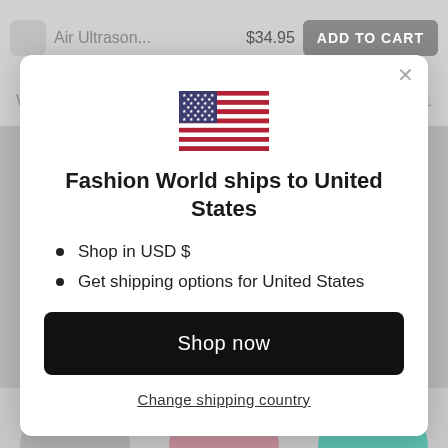[Figure (screenshot): E-commerce page background showing product header bar with checkbox, 'Air Ultrason...' title, '$34.95' price, 'ADD TO CART' button, color selector row showing 'White' with dropdown arrow and quantity '1', and three product color swatches at the bottom (gray, pink, teal).]
[Figure (illustration): US flag emoji/icon centered in the modal dialog.]
Fashion World ships to United States
Shop in USD $
Get shipping options for United States
Shop now
Change shipping country